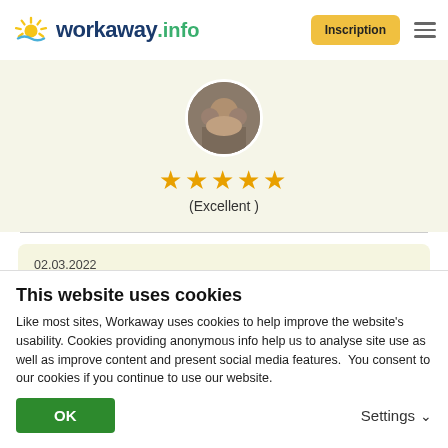[Figure (logo): Workaway.info logo with sun icon]
Inscription
[Figure (photo): Circular profile photo of a person at a social gathering]
★★★★★
(Excellent )
02.03.2022
Laissé par le workawayer (Bratislav) pour l'hôte
What a great experience! This place is amazing, lovely people everywhere. My plan was to stay for 3 weeks but i
This website uses cookies
Like most sites, Workaway uses cookies to help improve the website's usability. Cookies providing anonymous info help us to analyse site use as well as improve content and present social media features.  You consent to our cookies if you continue to use our website.
OK
Settings